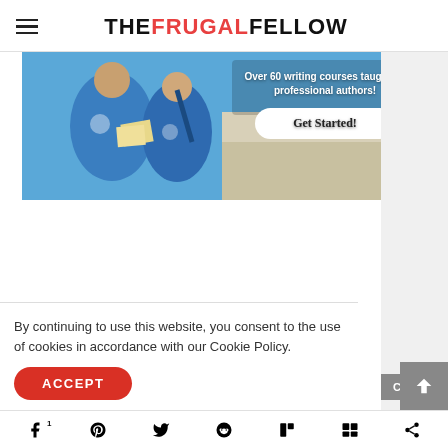THE FRUGAL FELLOW
[Figure (photo): Banner advertisement showing people in blue shirts holding books/papers, with text 'Over 60 writing courses taught by professional authors!' and a 'Get Started!' button]
By continuing to use this website, you consent to the use of cookies in accordance with our Cookie Policy.
ACCEPT
CLOSE